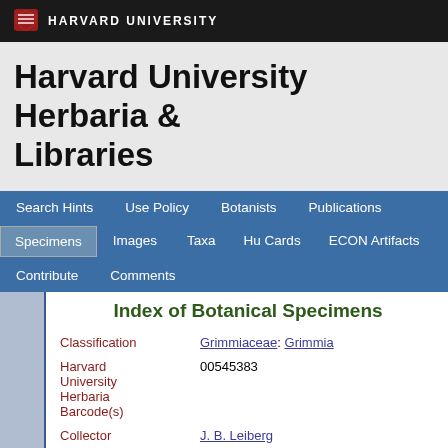HARVARD UNIVERSITY
Harvard University Herbaria & Libraries
Search Hints | Use Policy | Botanists | Publications | Specimens | Images | Taxa | Hu Cards | ECON Artifacts | Contribute | Comments
Index of Botanical Specimens
| Field | Value |
| --- | --- |
| Classification | Grimmiaceae: Grimmia |
| Harvard University Herbaria Barcode(s) | 00545383 |
| Collector | J. B. Leiberg |
| Country | United States of America |
| State | Idaho |
| Geography | North America: North America (CA, US, MX) (Region): United States of America: Idaho |